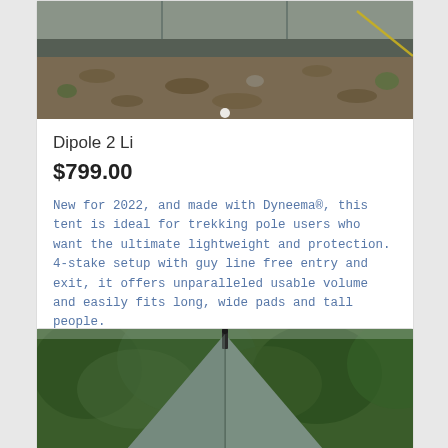[Figure (photo): Close-up photo of the bottom/footprint of a tent set up on ground with leaves and soil, with a yellow guy line visible on the right side.]
Dipole 2 Li
$799.00
New for 2022, and made with Dyneema®, this tent is ideal for trekking pole users who want the ultimate lightweight and protection. 4-stake setup with guy line free entry and exit, it offers unparalleled usable volume and easily fits long, wide pads and tall people.
Read more   Show Details
[Figure (photo): Photo of the top peak of a tent set up outdoors with green trees/forest in the background, showing a trekking pole tip at the apex.]